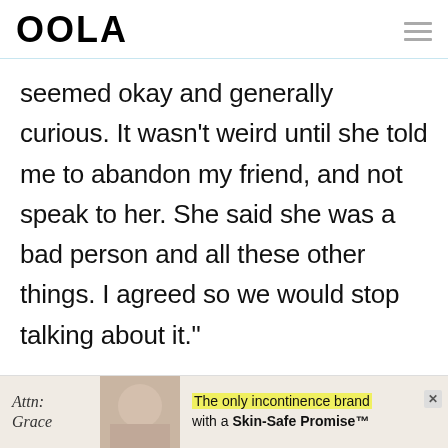OOLA
seemed okay and generally curious. It wasn't weird until she told me to abandon my friend, and not speak to her. She said she was a bad person and all these other things. I agreed so we would stop talking about it."
[Figure (infographic): Advertisement banner for Attn: Grace incontinence brand with text 'The only incontinence brand with a Skin-Safe Promise™' and a yellow highlight on 'The only incontinence brand']